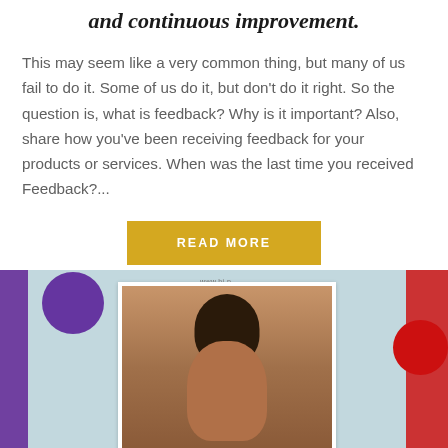and continuous improvement.
This may seem like a very common thing, but many of us fail to do it. Some of us do it, but don't do it right. So the question is, what is feedback? Why is it important? Also, share how you've been receiving feedback for your products or services. When was the last time you received Feedback?...
READ MORE
[Figure (photo): Smiling woman at an event with purple and red branded banners/balloons in the background, holding a portrait card]